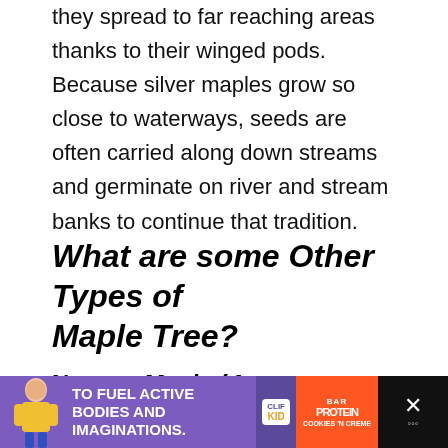they spread to far reaching areas thanks to their winged pods. Because silver maples grow so close to waterways, seeds are often carried along down streams and germinate on river and stream banks to continue that tradition.
What are some Other Types of Maple Tree?
Norway Maple (Acer platanoides)
[Figure (photo): Scenic outdoor landscape photo showing hills covered in autumn foliage with a blue sky]
[Figure (other): Advertisement banner: TO FUEL ACTIVE BODIES AND IMAGINATIONS - Clif Kid protein bar ad]